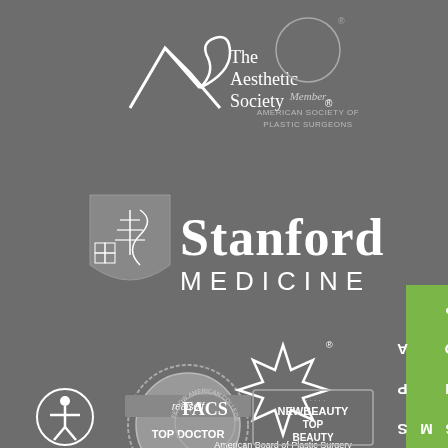[Figure (logo): The Aesthetic Society logo with mountain/triangle graphic and text 'The Aesthetic Society']
[Figure (logo): American Society of Plastic Surgeons member logo - circle with 'Member AMERICAN SOCIETY OF PLASTIC SURGEONS']
[Figure (logo): Stanford Medicine logo with shield and text 'Stanford MEDICINE']
[Figure (logo): RealSelf Top Doctor badge]
[Figure (logo): American Board of Plastic Surgery ABMS Maintenance of Certification star logo with text 'American Board of Plastic Surgery ABMS Maintenance of Certification Certification Matters']
[Figure (logo): Accessibility icon - person in circle]
[Figure (logo): Fellow American College of Surgeons FACS circular badge]
[Figure (logo): NewBeauty Top Beauty logo]
[Figure (other): Green vertical SHOP M SPA sidebar tab]